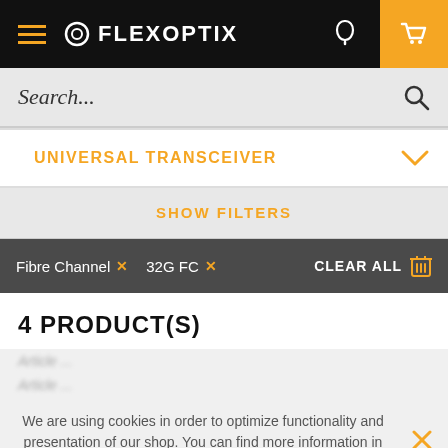FLEXOPTIX
Search...
UNIVERSAL TRANSCEIVER
SHOW FILTERS
Fibre Channel × 32G FC × CLEAR ALL
4 PRODUCT(S)
We are using cookies in order to optimize functionality and presentation of our shop. You can find more information in our privacy policy.